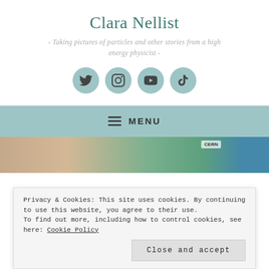Clara Nellist
- Taking pictures of particles and other stories from a high energy physicist -
[Figure (other): Four social media icon buttons (Twitter, Instagram, YouTube, TikTok) displayed as teal circles]
≡ MENU
[Figure (photo): Partial view of a photo showing a person and colorful background with CERN signage]
Privacy & Cookies: This site uses cookies. By continuing to use this website, you agree to their use.
To find out more, including how to control cookies, see here: Cookie Policy
Close and accept